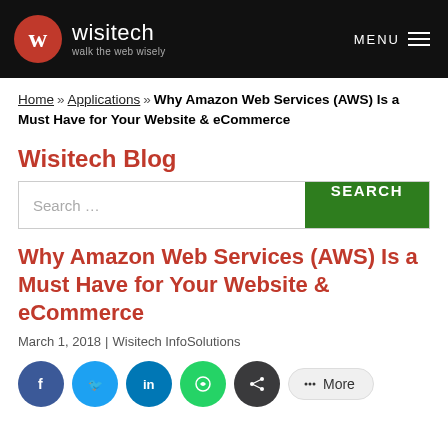wisitech — walk the web wisely | MENU
Home » Applications » Why Amazon Web Services (AWS) Is a Must Have for Your Website & eCommerce
Wisitech Blog
Search ...
Why Amazon Web Services (AWS) Is a Must Have for Your Website & eCommerce
March 1, 2018 | Wisitech InfoSolutions
Social share buttons: Facebook, Twitter, LinkedIn, WhatsApp, Share, More